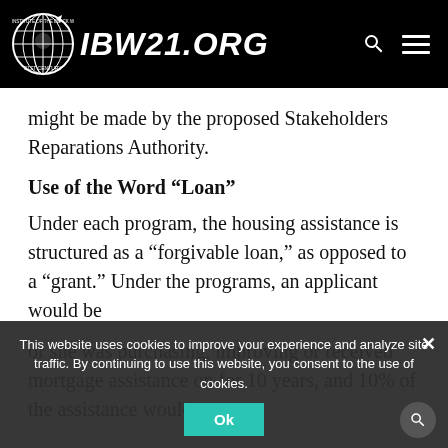IBW21.ORG
might be made by the proposed Stakeholders Reparations Authority.
Use of the Word “Loan”
Under each program, the housing assistance is structured as a “forgivable loan,” as opposed to a “grant.” Under the programs, an applicant would be
or she was purchasing, improving or received mortgage assistance on for 10 years, and 10% of the assistance would
This website uses cookies to improve your experience and analyze site traffic. By continuing to use this website, you consent to the use of cookies.